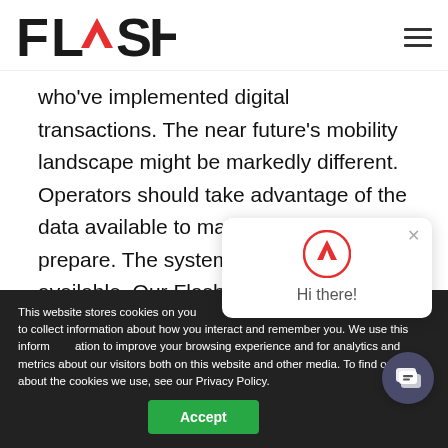[Figure (logo): FLASH logo with red chevron/arrow replacing the A]
who've implemented digital transactions. The near future's mobility landscape might be markedly different. Operators should take advantage of the data available to make decisions to prepare. The systems are there and available. Our FlashOS systems were able to save Parkway from six-fi[gure]
This website stores cookies on your computer to collect information about how you interact and remember you. We use this information to improve your browsing experience and for analytics and metrics about our visitors both on this website and other media. To find out more about the cookies we use, see our Privacy Policy.
Accept
Hi there!